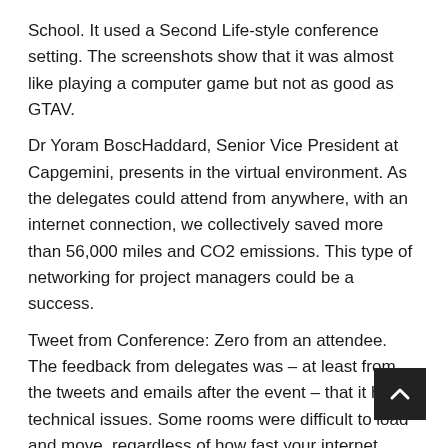School. It used a Second Life-style conference setting. The screenshots show that it was almost like playing a computer game but not as good as GTAV.
Dr Yoram BoscHaddard, Senior Vice President at Capgemini, presents in the virtual environment. As the delegates could attend from anywhere, with an internet connection, we collectively saved more than 56,000 miles and CO2 emissions. This type of networking for project managers could be a success.
Tweet from Conference: Zero from an attendee. The feedback from delegates was – at least from the tweets and emails after the event – that it had technical issues. Some rooms were difficult to load and move, regardless of how fast your internet connection is. I missed the opening keynote due to difficulty in accessing the virtual room. I also kn[ew] the delegate that gave up at lunchtime, complaining about the fru[stration] and the fact that he was arriving late for every session.